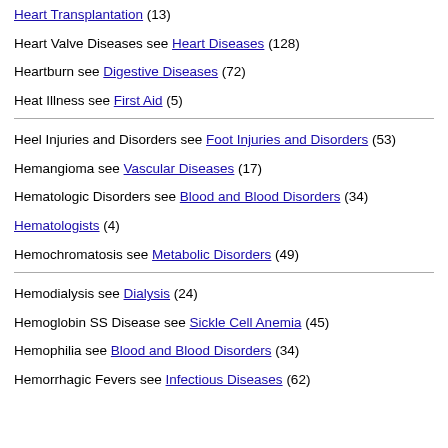Heart Transplantation (13)
Heart Valve Diseases see Heart Diseases (128)
Heartburn see Digestive Diseases (72)
Heat Illness see First Aid (5)
Heel Injuries and Disorders see Foot Injuries and Disorders (53)
Hemangioma see Vascular Diseases (17)
Hematologic Disorders see Blood and Blood Disorders (34)
Hematologists (4)
Hemochromatosis see Metabolic Disorders (49)
Hemodialysis see Dialysis (24)
Hemoglobin SS Disease see Sickle Cell Anemia (45)
Hemophilia see Blood and Blood Disorders (34)
Hemorrhagic Fevers see Infectious Diseases (62)